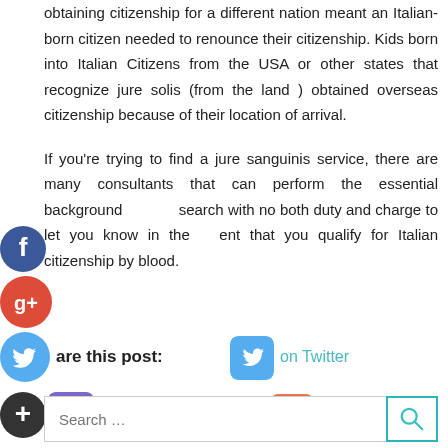obtaining citizenship for a different nation meant an Italian-born citizen needed to renounce their citizenship. Kids born into Italian Citizens from the USA or other states that recognize jure solis (from the land ) obtained overseas citizenship because of their location of arrival.
If you're trying to find a jure sanguinis service, there are many consultants that can perform the essential background search with no both duty and charge to let you know in the event that you qualify for Italian citizenship by blood.
[Figure (infographic): Social media sharing section with Twitter, Facebook, and Google+ icons and share links]